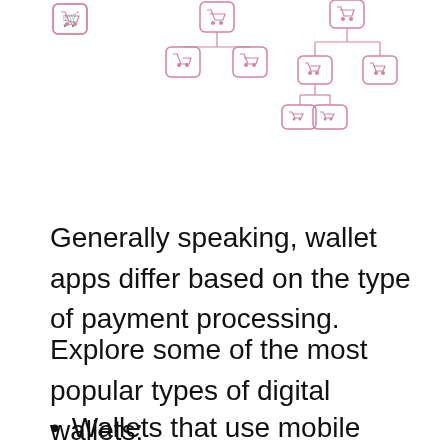[Figure (flowchart): Diagram showing shopping cart icons in a hierarchical tree structure (3 separate trees), above a purple banner labeled 'Where The Money Goes?' with three columns: 'To the companys account', 'To escrow account', 'To bank account']
Generally speaking, wallet apps differ based on the type of payment processing.
Explore some of the most popular types of digital wallets:
Wallets that use mobile